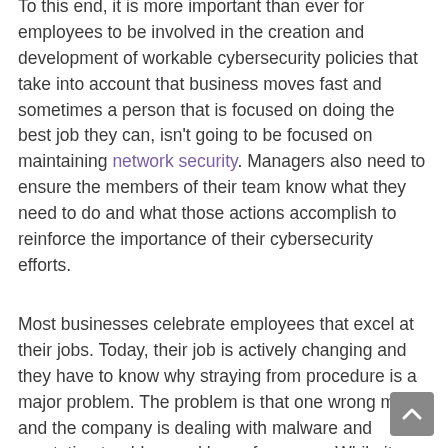To this end, it is more important than ever for employees to be involved in the creation and development of workable cybersecurity policies that take into account that business moves fast and sometimes a person that is focused on doing the best job they can, isn't going to be focused on maintaining network security. Managers also need to ensure the members of their team know what they need to do and what those actions accomplish to reinforce the importance of their cybersecurity efforts.
Most businesses celebrate employees that excel at their jobs. Today, their job is actively changing and they have to know why straying from procedure is a major problem. The problem is that one wrong move and the company is dealing with malware and reputation troubles, and loss of revenue. While it might be ridiculous to celebrate adherence to corporate